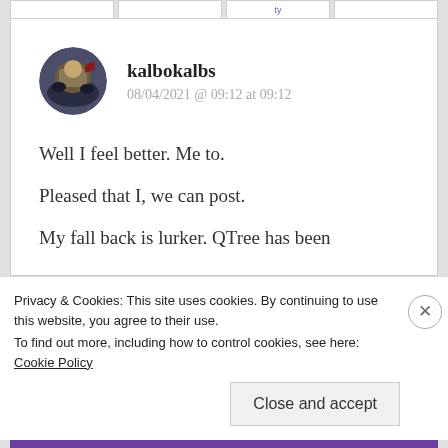kalbokalbs
08/04/2021 @ 09:12 at 09:12
Well I feel better. Me to.
Pleased that I, we can post.
My fall back is lurker. QTree has been
Privacy & Cookies: This site uses cookies. By continuing to use this website, you agree to their use.
To find out more, including how to control cookies, see here: Cookie Policy
Close and accept